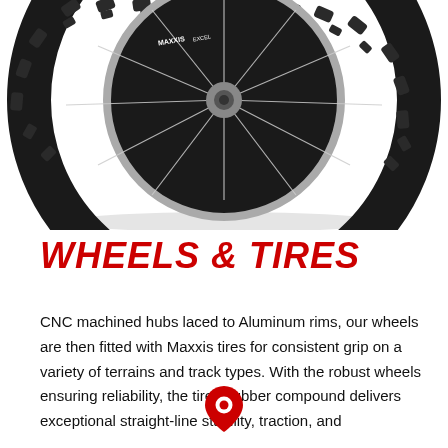[Figure (photo): Close-up photo of a mountain bike wheel and tire from below, showing knobby Maxxis Excel tire tread and spokes against white background]
WHEELS & TIRES
CNC machined hubs laced to Aluminum rims, our wheels are then fitted with Maxxis tires for consistent grip on a variety of terrains and track types. With the robust wheels ensuring reliability, the tire's rubber compound delivers exceptional straight-line stability, traction, and
[Figure (illustration): Red map/location pin icon]